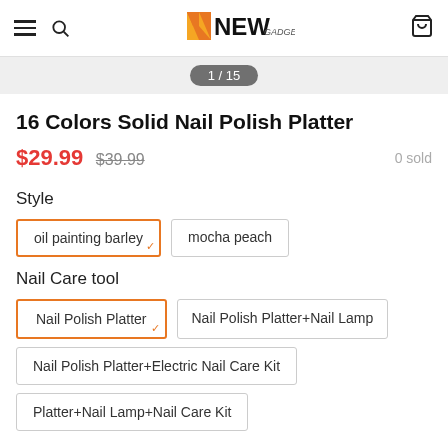NEW GADGETST — navigation header with menu, search, logo, and cart
1 / 15
16 Colors Solid Nail Polish Platter
$29.99  $39.99  0 sold
Style
oil painting barley (selected)
mocha peach
Nail Care tool
Nail Polish Platter (selected)
Nail Polish Platter+Nail Lamp
Nail Polish Platter+Electric Nail Care Kit
Platter+Nail Lamp+Nail Care Kit